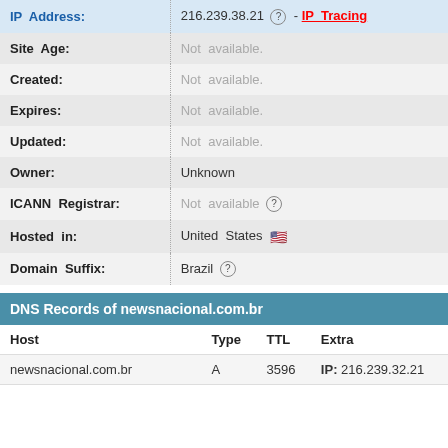| Field | Value |
| --- | --- |
| IP Address: | 216.239.38.21 ? - IP Tracing |
| Site Age: | Not available. |
| Created: | Not available. |
| Expires: | Not available. |
| Updated: | Not available. |
| Owner: | Unknown |
| ICANN Registrar: | Not available ? |
| Hosted in: | United States 🇺🇸 |
| Domain Suffix: | Brazil ? |
DNS Records of newsnacional.com.br
| Host | Type | TTL | Extra |
| --- | --- | --- | --- |
| newsnacional.com.br | A | 3596 | IP: 216.239.32.21 |